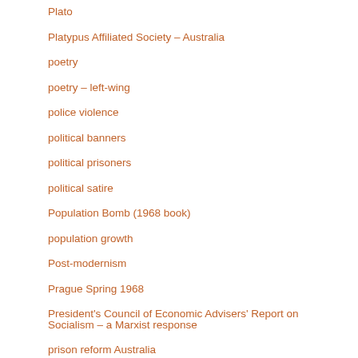Plato
Platypus Affiliated Society – Australia
poetry
poetry – left-wing
police violence
political banners
political prisoners
political satire
Population Bomb (1968 book)
population growth
Post-modernism
Prague Spring 1968
President's Council of Economic Advisers' Report on Socialism – a Marxist response
prison reform Australia
Prisoners' Action Committee Victoria
progress